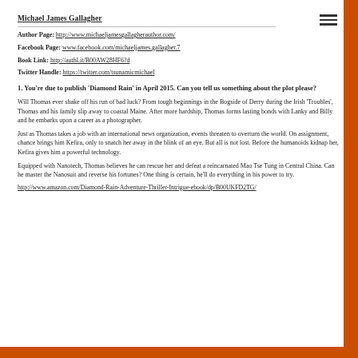Michael James Gallagher
Author Page: http://www.michaeljamesgallagherauthor.com/
Facebook Page: www.facebook.com/michaeljames.gallagher.7
Book Link: http://authl.it/B00AW28HF6?d
Twitter Handle: https://twitter.com/tsunamicmichael
1. You're due to publish 'Diamond Rain' in April 2015. Can you tell us something about the plot please?
Will Thomas ever shake off his run of bad luck? From tough beginnings in the Bogside of Derry during the Irish 'Troubles', Thomas and his family slip away to coastal Maine. After more hardship, Thomas forms lasting bonds with Lanky and Billy and he embarks upon a career as a photographer.
Just as Thomas takes a job with an international news organization, events threaten to overturn the world. On assignment, chance brings him Kefira, only to snatch her away in the blink of an eye. But all is not lost. Before the humanoids kidnap her, Kefira gives him a powerful technology.
Equipped with Nanotech, Thomas believes he can rescue her and defeat a reincarnated Mao Tse Tung in Central China. Can he master the Nanosuit and reverse his fortunes? One thing is certain, he'll do everything in his power to try.
http://www.amazon.com/Diamond-Rain-Adventure-Thriller-Intrigue-ebook/dp/B00UKFD2TG/